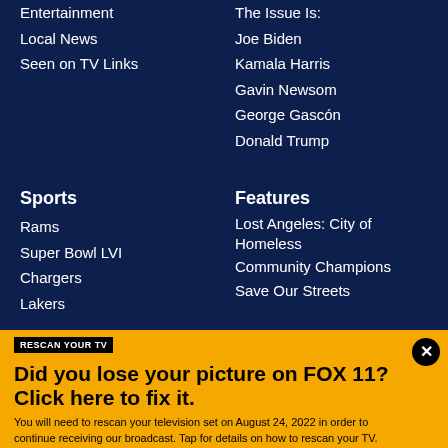Entertainment
Local News
Seen on TV Links
The Issue Is:
Joe Biden
Kamala Harris
Gavin Newsom
George Gascón
Donald Trump
Sports
Rams
Super Bowl LVI
Chargers
Lakers
Features
Lost Angeles: City of Homeless
Community Champions
Save Our Streets
RESCAN YOUR TV
Did you lose your picture on FOX 11? Click here to fix it.
You will need to rescan your television set on August 24, 2022 in order to continue receiving our broadcast. Tap for details on how to rescan your TV.